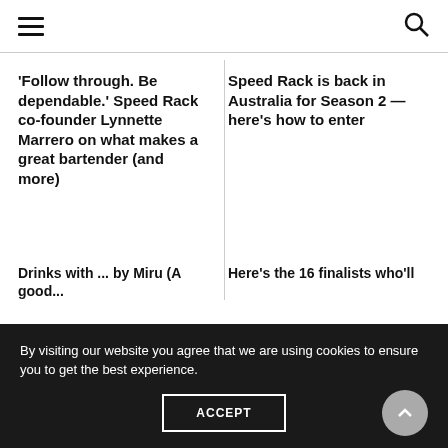navigation header with menu and search icons
'Follow through. Be dependable.' Speed Rack co-founder Lynnette Marrero on what makes a great bartender (and more)
Speed Rack is back in Australia for Season 2 — here's how to enter
Drinks with ... by Miru (A good...
Here's the 16 finalists who'll
By visiting our website you agree that we are using cookies to ensure you to get the best experience.